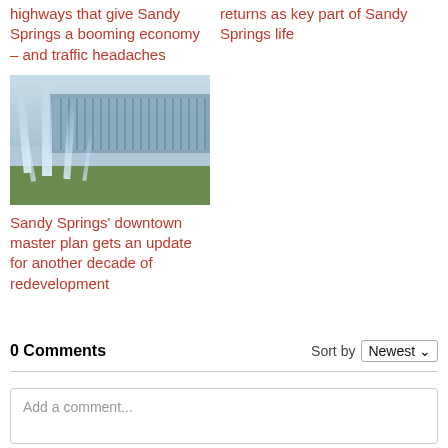highways that give Sandy Springs a booming economy – and traffic headaches
returns as key part of Sandy Springs life
[Figure (photo): Fountain with water jets in front of a modern glass building, green grass in foreground, blue sky background.]
Sandy Springs' downtown master plan gets an update for another decade of redevelopment
0 Comments
Sort by Newest
Add a comment...